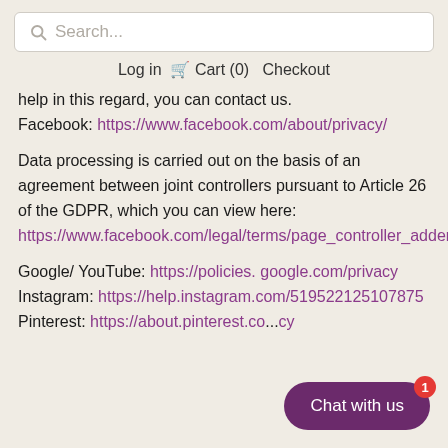Search...
Log in  Cart (0)  Checkout
help in this regard, you can contact us.
Facebook: https://www.facebook.com/about/privacy/
Data processing is carried out on the basis of an agreement between joint controllers pursuant to Article 26 of the GDPR, which you can view here: https://www.facebook.com/legal/terms/page_controller_addendum
Google/ YouTube: https://policies. google.com/privacy
Instagram: https://help.instagram.com/519522125107875
Pinterest: https://about.pinterest.co...cy